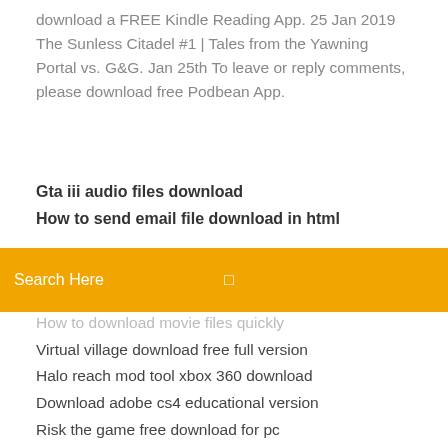download a FREE Kindle Reading App. 25 Jan 2019 The Sunless Citadel #1 | Tales from the Yawning Portal vs. G&G. Jan 25th To leave or reply comments, please download free Podbean App.
Gta iii audio files download
How to send email file download in html
Search Here
How to download movie files quickly
Virtual village download free full version
Halo reach mod tool xbox 360 download
Download adobe cs4 educational version
Risk the game free download for pc
Download my font file
Google drive cant download files
Where is my play music download android
How to change where a torrent downloads
Download audio love me like you do mp4
Retscreen version 4 download